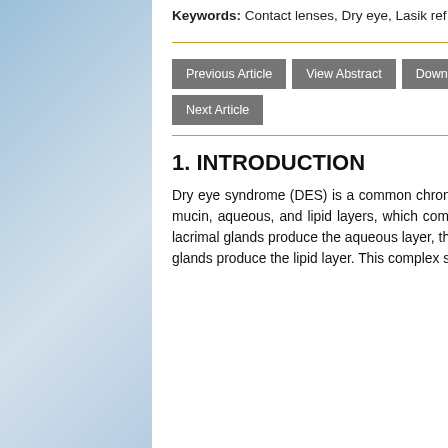Keywords: Contact lenses, Dry eye, Lasik ref diseases.
Previous Article | View Abstract | Download PDF | Next Article
1. INTRODUCTION
Dry eye syndrome (DES) is a common chronic disease of the ocular surface [1, 2]. The primary components of tears are mucin, aqueous, and lipid layers, which combine to create a complex viscoelastic structure. The lacrimal and accessory lacrimal glands produce the aqueous layer, the goblet cells of the conjunctiva produce the mucin layer, and the meibomian glands produce the lipid layer. This complex structure is responsible for lubrication nutrition as well as protecting